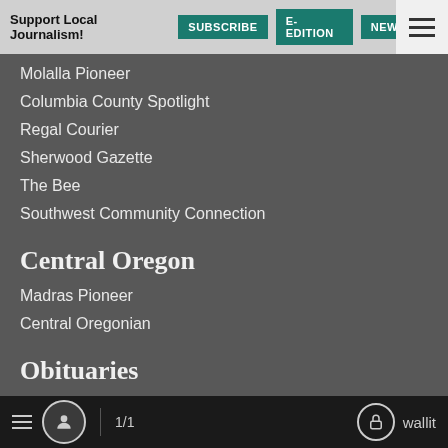Support Local Journalism! SUBSCRIBE E-EDITION NEWSLET
Molalla Pioneer
Columbia County Spotlight
Regal Courier
Sherwood Gazette
The Bee
Southwest Community Connection
Central Oregon
Madras Pioneer
Central Oregonian
Obituaries
Submit an Obituary
Business Tribune
Columns
1/1  wallit